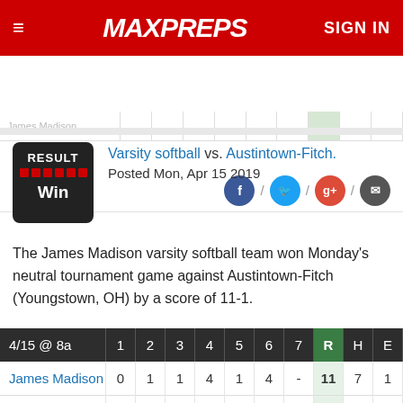MaxPreps — SIGN IN
| James Madison |  |  |  |  |  |  |  |  |
| --- | --- | --- | --- | --- | --- | --- | --- | --- |
| James Madison |  |  |  |  |  |  |  |  |
Box score / / / /
[Figure (other): RESULT badge showing Win in black box with red dots]
Varsity softball vs. Austintown-Fitch.
Posted Mon, Apr 15 2019
The James Madison varsity softball team won Monday's neutral tournament game against Austintown-Fitch (Youngstown, OH) by a score of 11-1.
| 4/15 @ 8a | 1 | 2 | 3 | 4 | 5 | 6 | 7 | R | H | E |
| --- | --- | --- | --- | --- | --- | --- | --- | --- | --- | --- |
| James Madison | 0 | 1 | 1 | 4 | 1 | 4 | - | 11 | 7 | 1 |
| Austintown-Fitch | 0 | 0 | 0 | 0 | 1 | 0 |  | 1 | 6 | 0 |